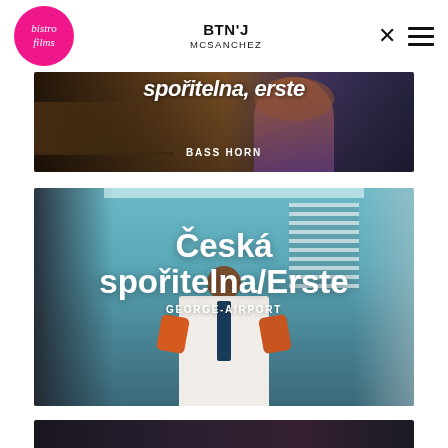[Figure (screenshot): Bistro Films logo — pink circle with cursive white text]
BTN'J
MCSANCHEZ
[Figure (screenshot): Partial video thumbnail with italic bold text partially visible at top and BASS HORN subtitle]
[Figure (screenshot): Video thumbnail showing office/airport scene with person raising hands, title Česká spořitelna/Erste and subtitle GEORGE-AIRPORT]
[Figure (screenshot): Partial video thumbnail at bottom of page, dark scene]